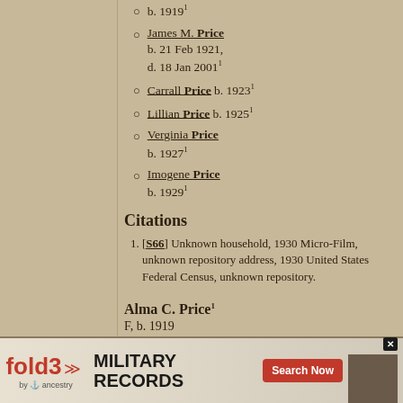b. 1919¹
James M. Price b. 21 Feb 1921, d. 18 Jan 2001¹
Carrall Price b. 1923¹
Lillian Price b. 1925¹
Verginia Price b. 1927¹
Imogene Price b. 1929¹
Citations
[S66] Unknown household, 1930 Micro-Film, unknown repository address, 1930 United States Federal Census, unknown repository.
Alma C. Price¹
F, b. 1919
Father*
Mother*
[Figure (infographic): Fold3 by Ancestry advertisement banner for Military Records with Search Now button]